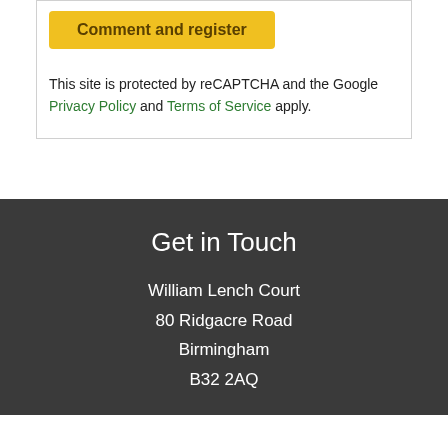[Figure (screenshot): Yellow 'Comment and register' button (partially visible at top)]
This site is protected by reCAPTCHA and the Google Privacy Policy and Terms of Service apply.
Get in Touch
William Lench Court
80 Ridgacre Road
Birmingham
B32 2AQ